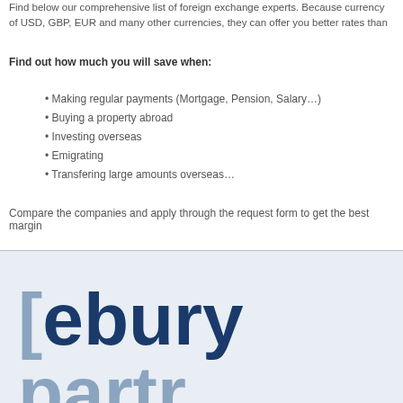Find below our comprehensive list of foreign exchange experts. Because currency of USD, GBP, EUR and many other currencies, they can offer you better rates than
Find out how much you will save when:
Making regular payments (Mortgage, Pension, Salary…)
Buying a property abroad
Investing overseas
Emigrating
Transfering large amounts overseas…
Compare the companies and apply through the request form to get the best margin
[Figure (logo): Ebury Partners logo showing '[eburypartr' in dark navy and steel blue colors]